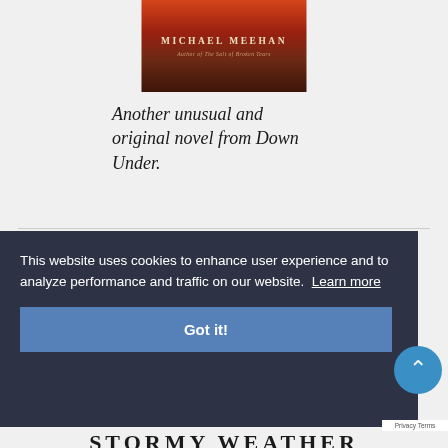[Figure (photo): Book cover showing 'MICHAEL MEEHAN' author name, with subtitle 'Author of The Salt of Broken Tears', set against a dark reddish-brown landscape background]
Another unusual and original novel from Down Under.
This website uses cookies to enhance user experience and to analyze performance and traffic on our website. Learn more
Got it!
STORMY WEATHER